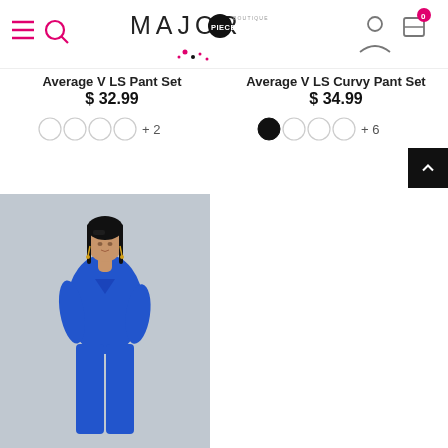Major Pieces Boutique — navigation header with hamburger, search, logo, account, and cart (0 items)
Average V LS Pant Set
$ 32.99
Average V LS Curvy Pant Set
$ 34.99
[Figure (photo): Woman wearing a royal blue V-neck short-sleeve pant set, posing against a grey background]
+ 2
+ 6